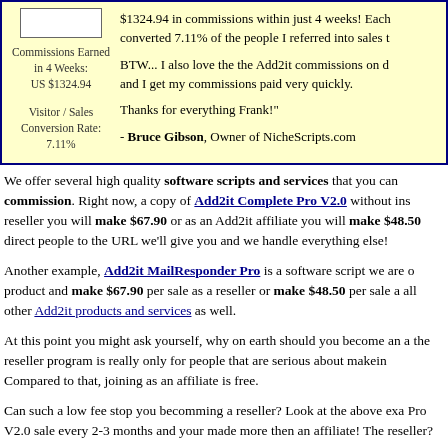[Figure (other): Testimonial box with stats column showing commissions earned and conversion rate, and quote column with text from Bruce Gibson]
We offer several high quality software scripts and services that you can commission. Right now, a copy of Add2it Complete Pro V2.0 without ins reseller you will make $67.90 or as an Add2it affiliate you will make $48.50 direct people to the URL we'll give you and we handle everything else!
Another example, Add2it MailResponder Pro is a software script we are o product and make $67.90 per sale as a reseller or make $48.50 per sale a all other Add2it products and services as well.
At this point you might ask yourself, why on earth should you become an a the reseller program is really only for people that are serious about makein Compared to that, joining as an affiliate is free.
Can such a low fee stop you becomming a reseller? Look at the above exa Pro V2.0 sale every 2-3 months and your made more then an affiliate! The reseller?
Plus there is another advantage for resellers... but more about that later on